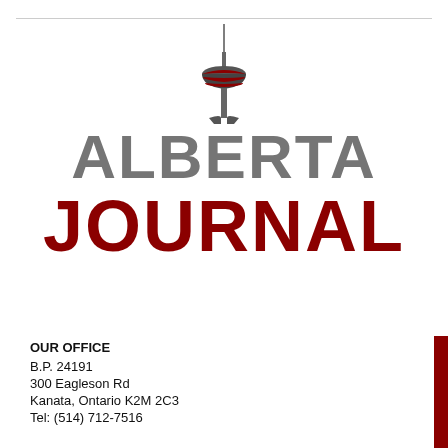[Figure (logo): Alberta Journal logo with Calgary Tower illustration above stylized text reading ALBERTA JOURNAL]
OUR OFFICE
B.P. 24191
300 Eagleson Rd
Kanata, Ontario K2M 2C3
Tel: (514) 712-7516